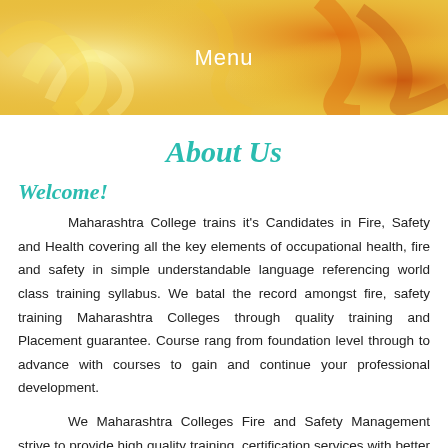Menu
About Us
Welcome!
Maharashtra College trains it's Candidates in Fire, Safety and Health covering all the key elements of occupational health, fire and safety in simple understandable language referencing world class training syllabus. We batal the record amongst fire, safety training Maharashtra Colleges through quality training and Placement guarantee. Course rang from foundation level through to advance with courses to gain and continue your professional development.
We Maharashtra Colleges Fire and Safety Management strive to provide high quality training ,certification services with better value additional and quick response at all times to our esteemed student